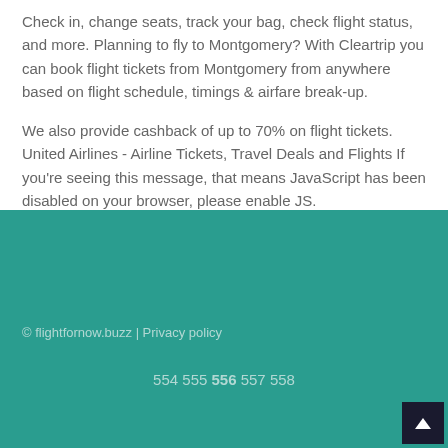Check in, change seats, track your bag, check flight status, and more. Planning to fly to Montgomery? With Cleartrip you can book flight tickets from Montgomery from anywhere based on flight schedule, timings & airfare break-up.
We also provide cashback of up to 70% on flight tickets. United Airlines - Airline Tickets, Travel Deals and Flights If you're seeing this message, that means JavaScript has been disabled on your browser, please enable JS.
© flightfornow.buzz | Privacy policy
554 555 556 557 558